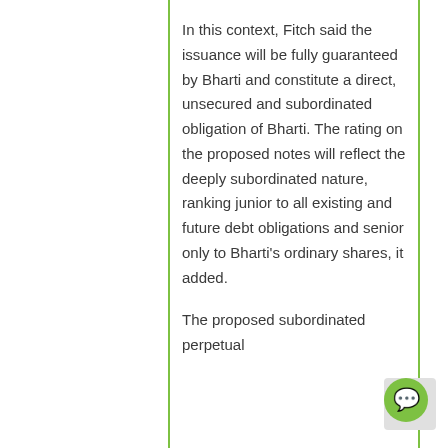In this context, Fitch said the issuance will be fully guaranteed by Bharti and constitute a direct, unsecured and subordinated obligation of Bharti. The rating on the proposed notes will reflect the deeply subordinated nature, ranking junior to all existing and future debt obligations and senior only to Bharti's ordinary shares, it added.
The proposed subordinated perpetual